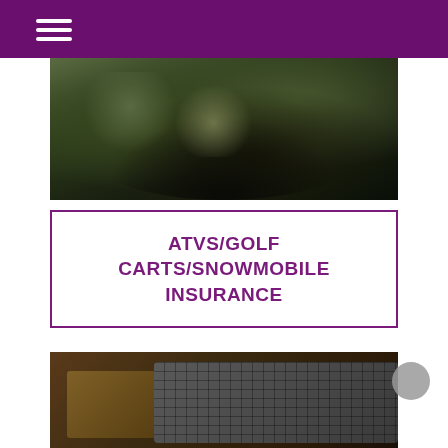[Figure (photo): Close-up photo of an ATV or tractor in a wooded/leafy outdoor environment, dark tones with green foliage visible]
ATVS/GOLF CARTS/SNOWMOBILE INSURANCE
[Figure (photo): Close-up photo of eyeglasses and a calculator on a wooden desk surface]